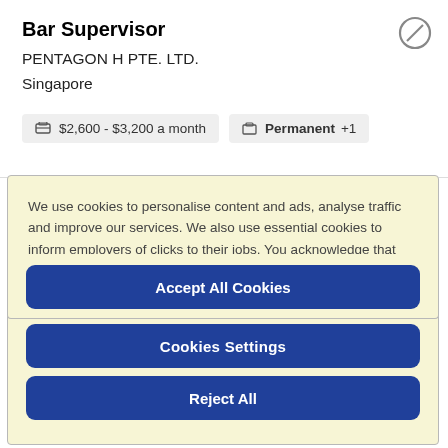Bar Supervisor
PENTAGON H PTE. LTD.
Singapore
$2,600 - $3,200 a month
Permanent +1
We use cookies to personalise content and ads, analyse traffic and improve our services. We also use essential cookies to inform employers of clicks to their jobs. You acknowledge that your use of Indeed is subject to our Cookie Policy, which we encourage you to review.
Cookies Settings
Reject All
Accept All Cookies